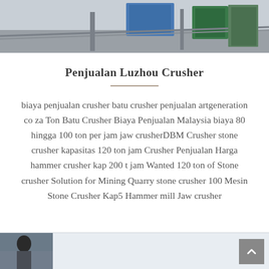[Figure (photo): Top portion of an industrial crusher or mining equipment facility, showing blue and green machinery against a grey sky]
Penjualan Luzhou Crusher
biaya penjualan crusher batu crusher penjualan artgeneration co za Ton Batu Crusher Biaya Penjualan Malaysia biaya 80 hingga 100 ton per jam jaw crusherDBM Crusher stone crusher kapasitas 120 ton jam Crusher Penjualan Harga hammer crusher kap 200 t jam Wanted 120 ton of Stone crusher Solution for Mining Quarry stone crusher 100 Mesin Stone Crusher Kap5 Hammer mill Jaw crusher
[Figure (photo): Partial view of a person or industrial scene at bottom left of page]